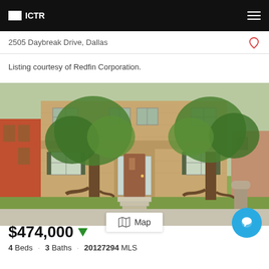ICTR
2505 Daybreak Drive, Dallas
Listing courtesy of Redfin Corporation.
[Figure (photo): Two-story brick house with two large trees in the front yard, stone steps leading to front door, green lawn]
$474,000
4 Beds · 3 Baths · 20127294 MLS